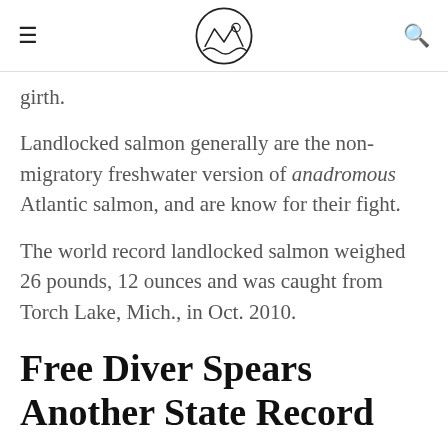[hamburger menu] [logo] [search icon]
girth.
Landlocked salmon generally are the non-migratory freshwater version of anadromous Atlantic salmon, and are know for their fight.
The world record landlocked salmon weighed 26 pounds, 12 ounces and was caught from Torch Lake, Mich., in Oct. 2010.
Free Diver Spears Another State Record